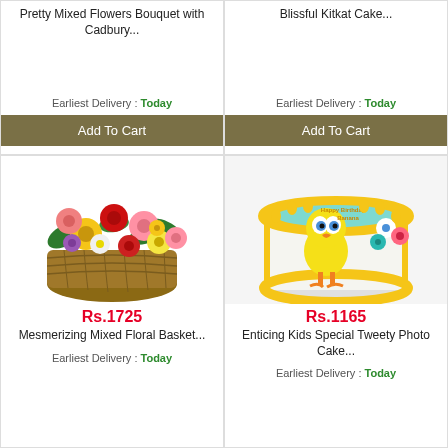Pretty Mixed Flowers Bouquet with Cadbury...
Earliest Delivery : Today
Add To Cart
Blissful Kitkat Cake...
Earliest Delivery : Today
Add To Cart
[Figure (photo): Colorful mixed floral basket arrangement with roses, gerberas, and daisies in a wicker basket]
Rs.1725
Mesmerizing Mixed Floral Basket...
Earliest Delivery : Today
[Figure (photo): Round birthday cake with yellow frosting border and Tweety Bird photo print on top with Happy Birthday text]
Rs.1165
Enticing Kids Special Tweety Photo Cake...
Earliest Delivery : Today